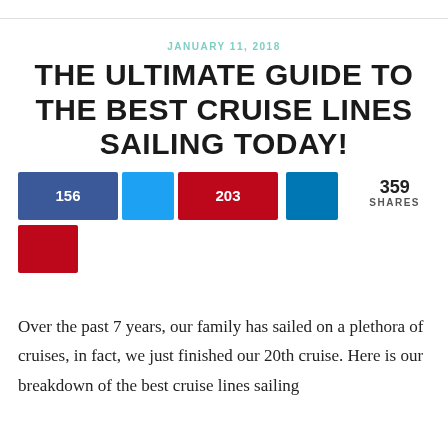JANUARY 11, 2018
THE ULTIMATE GUIDE TO THE BEST CRUISE LINES SAILING TODAY!
[Figure (infographic): Social share buttons showing 156 Facebook shares, Twitter share button, 203 Pinterest shares, LinkedIn share button, and a red button below. Total: 359 SHARES displayed to the right.]
Over the past 7 years, our family has sailed on a plethora of cruises, in fact, we just finished our 20th cruise. Here is our breakdown of the best cruise lines sailing